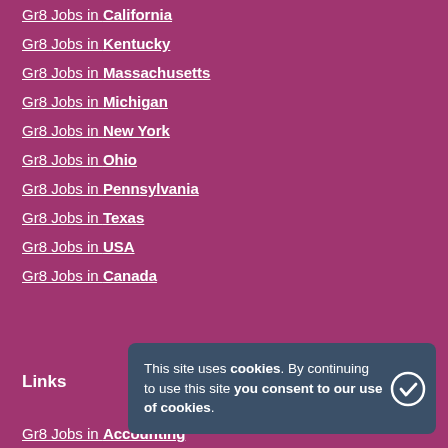Gr8 Jobs in California
Gr8 Jobs in Kentucky
Gr8 Jobs in Massachusetts
Gr8 Jobs in Michigan
Gr8 Jobs in New York
Gr8 Jobs in Ohio
Gr8 Jobs in Pennsylvania
Gr8 Jobs in Texas
Gr8 Jobs in USA
Gr8 Jobs in Canada
Links
This site uses cookies. By continuing to use this site you consent to our use of cookies.
Gr8 Jobs in Accounting